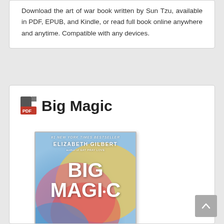Download the art of war book written by Sun Tzu, available in PDF, EPUB, and Kindle, or read full book online anywhere and anytime. Compatible with any devices.
Big Magic
[Figure (illustration): Book cover of 'Big Magic: Creative Living Beyond Fear' by Elizabeth Gilbert. Colorful abstract background with pink, blue, yellow, and red hues. White bold text reading BIG MAGIC with subtitle CREATIVE LIVING BEYOND FEAR.]